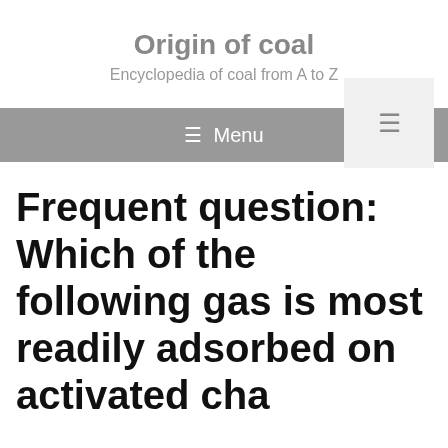Origin of coal
Encyclopedia of coal from A to Z
Frequent question: Which of the following gas is most readily adsorbed on activated charcoal?